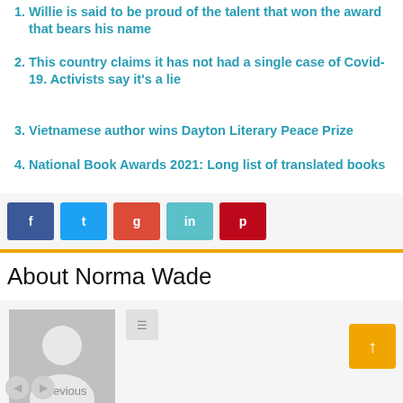Willie is said to be proud of the talent that won the award that bears his name
This country claims it has not had a single case of Covid-19. Activists say it's a lie
Vietnamese author wins Dayton Literary Peace Prize
National Book Awards 2021: Long list of translated books
[Figure (infographic): Social share buttons: Facebook (blue), Twitter (light blue), Google/Reddit (orange-red), LinkedIn (teal), Pinterest (red)]
About Norma Wade
[Figure (photo): Default grey avatar profile image placeholder with person silhouette icon]
Previous